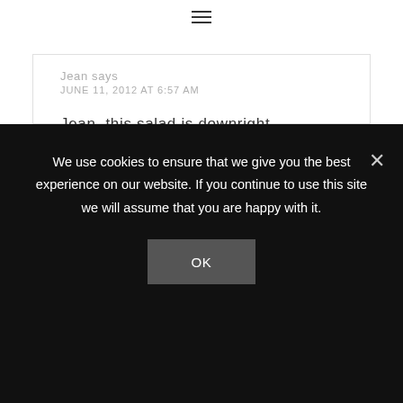≡
JUNE 11, 2012 AT 6:57 AM
Jean, this salad is downright gorgeous. The candied pecans sound divine with the apricots and arugula. Beautiful photos.
[Figure (other): Five gold star rating icons]
Reply
We use cookies to ensure that we give you the best experience on our website. If you continue to use this site we will assume that you are happy with it.
OK